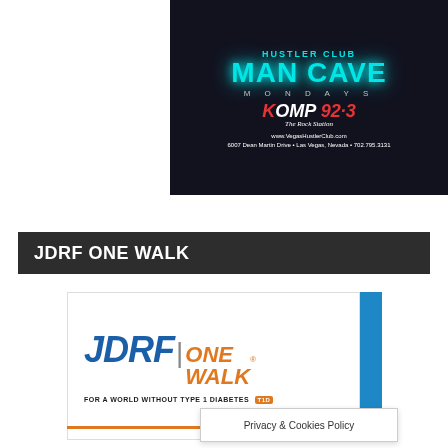[Figure (advertisement): Hustler Club Man Cave Mondays advertisement featuring KOMP 92.3 The Rock Station. Website: www.VegasHustlerClub.com, Address: 6007 Dean Martin Drive, Las Vegas, Nevada, 702.795.3131]
JDRF ONE WALK
[Figure (logo): JDRF ONE WALK logo with tagline FOR A WORLD WITHOUT TYPE 1 DIABETES T1D]
Privacy & Cookies Policy